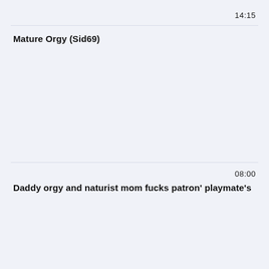14:15
Mature Orgy (Sid69)
08:00
Daddy orgy and naturist mom fucks patron' playmate's